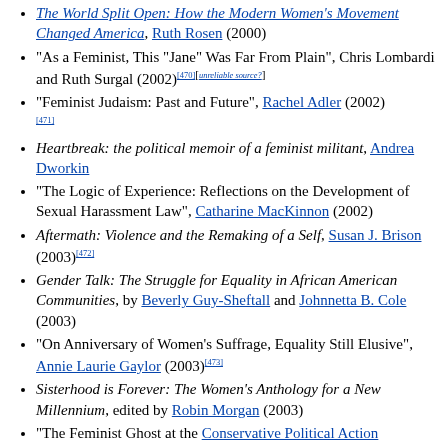The World Split Open: How the Modern Women's Movement Changed America, Ruth Rosen (2000)
"As a Feminist, This "Jane" Was Far From Plain", Chris Lombardi and Ruth Surgal (2002)[470][unreliable source?]
"Feminist Judaism: Past and Future", Rachel Adler (2002)[471]
Heartbreak: the political memoir of a feminist militant, Andrea Dworkin
"The Logic of Experience: Reflections on the Development of Sexual Harassment Law", Catharine MacKinnon (2002)
Aftermath: Violence and the Remaking of a Self, Susan J. Brison (2003)[472]
Gender Talk: The Struggle for Equality in African American Communities, by Beverly Guy-Sheftall and Johnnetta B. Cole (2003)
"On Anniversary of Women's Suffrage, Equality Still Elusive", Annie Laurie Gaylor (2003)[473]
Sisterhood is Forever: The Women's Anthology for a New Millennium, edited by Robin Morgan (2003)
"The Feminist Ghost at the Conservative Political Action Conference", Joreen (2003)[474]
"Women's Peace Activism: Forward into the Past?", Joreen (2003)[475]